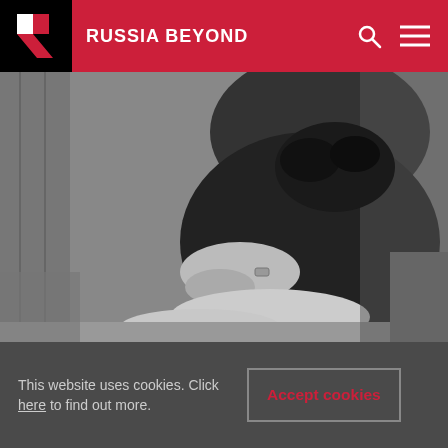RUSSIA BEYOND
[Figure (photo): Black and white photograph of a person wearing a dark dress sitting on a couch or chair, with hands folded on their legs. The image is cropped to show the torso and legs without showing the face.]
This website uses cookies. Click here to find out more.
Accept cookies